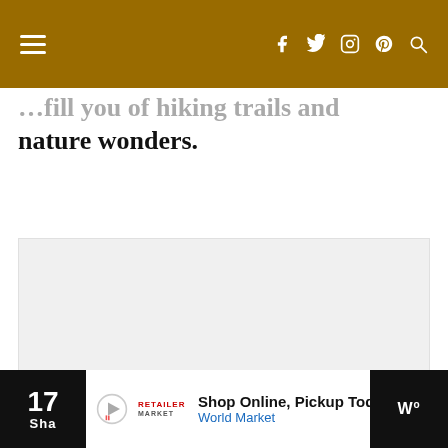Navigation bar with hamburger menu and social icons (f, twitter, instagram, pinterest, search)
…fill you of hiking trails and nature wonders.
[Figure (other): Large grey placeholder box with three loading dots, indicating an advertisement or image loading]
17 Sha | Shop Online, Pickup Today World Market | [nav arrow] | [W logo]